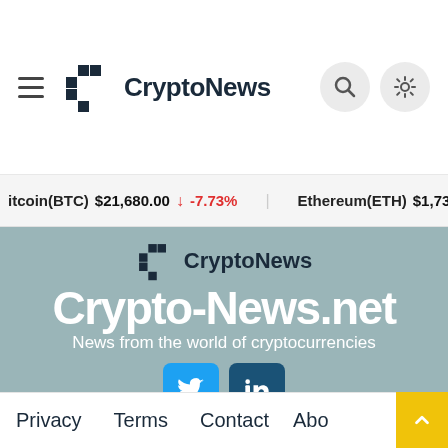CryptoNews
Bitcoin(BTC) $21,680.00 ↓ -7.73%   Ethereum(ETH) $1,735.98 ↓
[Figure (logo): CryptoNews logo with pixelated C icon and text 'CryptoNews']
Crypto-News.net
News from the world of cryptocurrencies
[Figure (infographic): Social media buttons: Twitter (blue) and LinkedIn (dark blue)]
Privacy   Terms   Contact   About